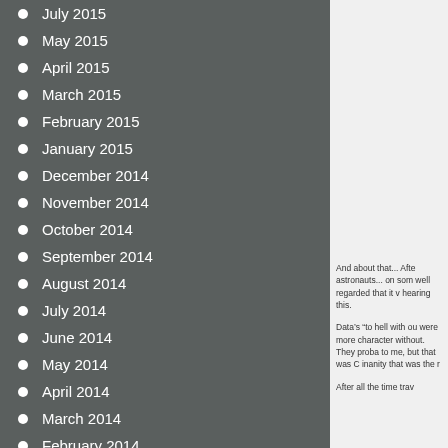July 2015
May 2015
April 2015
March 2015
February 2015
January 2015
December 2014
November 2014
October 2014
September 2014
August 2014
July 2014
June 2014
May 2014
April 2014
March 2014
February 2014
January 2014
December 2013
November 2013
And about that... Afte astronauts... on som well regarded that it v hearing this.
Data's “to hell with ou were more character without. They proba to me, but that was C inanity that was the r
After all the time trav